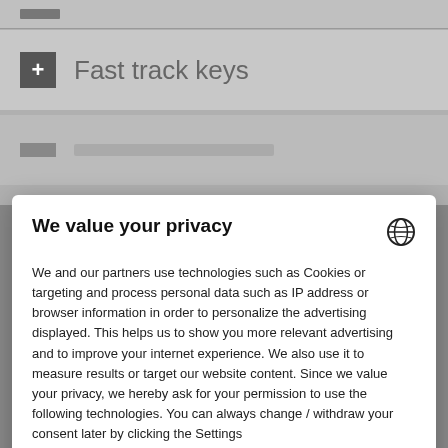Fast track keys
We value your privacy
We and our partners use technologies such as Cookies or targeting and process personal data such as IP address or browser information in order to personalize the advertising displayed. This helps us to show you more relevant advertising and to improve your internet experience. We also use it to measure results or target our website content. Since we value your privacy, we hereby ask for your permission to use the following technologies. You can always change / withdraw your consent later by clicking the Settings
Accept all
Deny
Save Settings
Powered by Usercentrics Consent Management